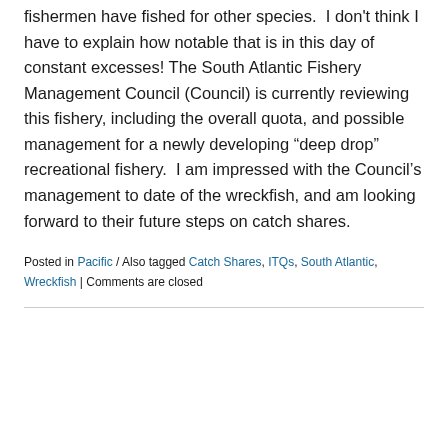fishermen have fished for other species. I don't think I have to explain how notable that is in this day of constant excesses! The South Atlantic Fishery Management Council (Council) is currently reviewing this fishery, including the overall quota, and possible management for a newly developing “deep drop” recreational fishery. I am impressed with the Council’s management to date of the wreckfish, and am looking forward to their future steps on catch shares.
Posted in Pacific / Also tagged Catch Shares, ITQs, South Atlantic, Wreckfish | Comments are closed